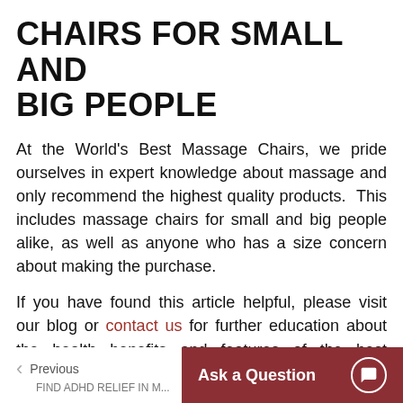CHAIRS FOR SMALL AND BIG PEOPLE
At the World's Best Massage Chairs, we pride ourselves in expert knowledge about massage and only recommend the highest quality products. This includes massage chairs for small and big people alike, as well as anyone who has a size concern about making the purchase.
If you have found this article helpful, please visit our blog or contact us for further education about the health benefits and features of the best massage chair for your body type.
Previous | FIND ADHD RELIEF IN M... | Ask a Question